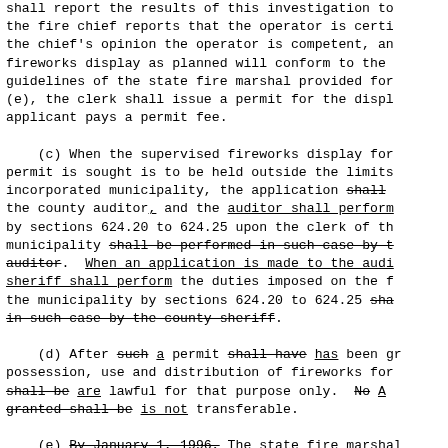shall report the results of this investigation to the fire chief reports that the operator is certi the chief's opinion the operator is competent, an fireworks display as planned will conform to the guidelines of the state fire marshal provided for (e), the clerk shall issue a permit for the displ applicant pays a permit fee.
    (c) When the supervised fireworks display for permit is sought is to be held outside the limits incorporated municipality, the application shall the county auditor, and the auditor shall perform by sections 624.20 to 624.25 upon the clerk of th municipality shall be performed in such case by t auditor.  When an application is made to the audi sheriff shall perform the duties imposed on the f the municipality by sections 624.20 to 624.25 sha in such case by the county sheriff.
    (d) After such a permit shall have has been gr possession, use and distribution of fireworks for shall be are lawful for that purpose only.  No A granted shall be is not transferable.
    (e) By January 1, 1996, The state fire marshal and disseminate to political subdivisions reasona establishing guidelines on fireworks display safe exempt from chapter 14, that are consistent with